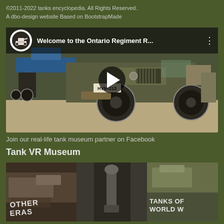©2011-2022 tanks encyclopedia. All Rights Reserved.
A dbo-design website Based on BootstrapMade
[Figure (screenshot): YouTube video thumbnail showing a military jeep (licence plate HVM-213) in a museum with the title 'Welcome to the Ontario Regiment R...' and a play button overlay]
Join our real-life tank museum partner on Facebook
Tank VR Museum
[Figure (photo): Three-panel image showing close-up museum exhibit photos with text overlays: 'OTHER ERAS', a mechanical component, and 'TANKS OF WORLD W...']